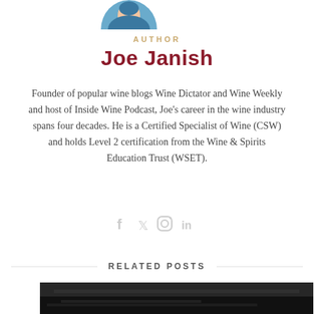[Figure (photo): Circular cropped photo of author Joe Janish, partially visible at top of page, showing a person in a blue top]
AUTHOR
Joe Janish
Founder of popular wine blogs Wine Dictator and Wine Weekly and host of Inside Wine Podcast, Joe's career in the wine industry spans four decades. He is a Certified Specialist of Wine (CSW) and holds Level 2 certification from the Wine & Spirits Education Trust (WSET).
[Figure (illustration): Social media icons: Facebook (f), Twitter (bird), Instagram (camera outline), LinkedIn (in)]
RELATED POSTS
[Figure (photo): Partially visible dark photo at the bottom of the page, likely a wine-related image]